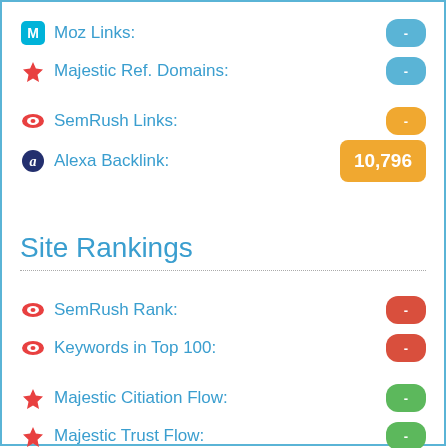Moz Links: -
Majestic Ref. Domains: -
SemRush Links: -
Alexa Backlink: 10,796
Site Rankings
SemRush Rank: -
Keywords in Top 100: -
Majestic Citiation Flow: -
Majestic Trust Flow: -
Moz Rank: -